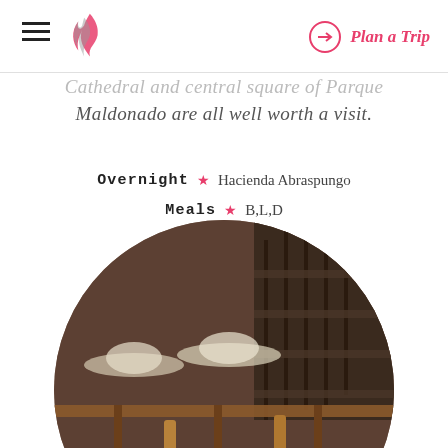Plan a Trip
Cathedral and central square of Parque Maldonado are all well worth a visit.
Overnight ★ Hacienda Abraspungo
Meals ★ B,L,D
[Figure (photo): Circular cropped photo of multiple white Panama hats displayed on wooden shelves/tables inside what appears to be a hat shop, with dark wooden stairs visible in the background.]